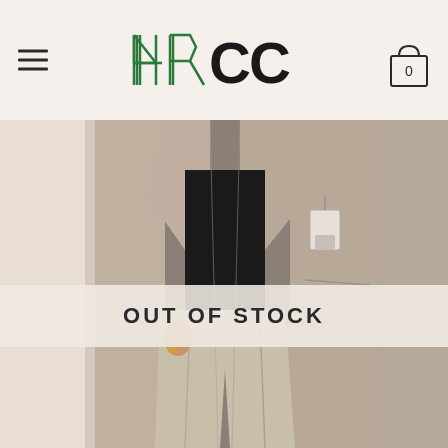4RCC — navigation header with hamburger menu and cart icon showing 0
[Figure (photo): E-commerce product page screenshot showing a long woolen coat in taupe/mauve color worn by a model. The coat is open-front with a lapel collar, worn over a black turtleneck and beige/khaki wide-leg trousers. A price tag is visible. The image is split by an 'OUT OF STOCK' overlay banner in the middle.]
OUT OF STOCK